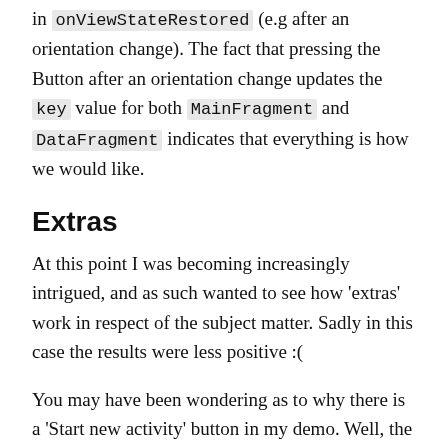in onViewStateRestored (e.g after an orientation change). The fact that pressing the Button after an orientation change updates the key value for both MainFragment and DataFragment indicates that everything is how we would like.
Extras
At this point I was becoming increasingly intrigued, and as such wanted to see how 'extras' work in respect of the subject matter. Sadly in this case the results were less positive :(
You may have been wondering as to why there is a 'Start new activity' button in my demo. Well, the